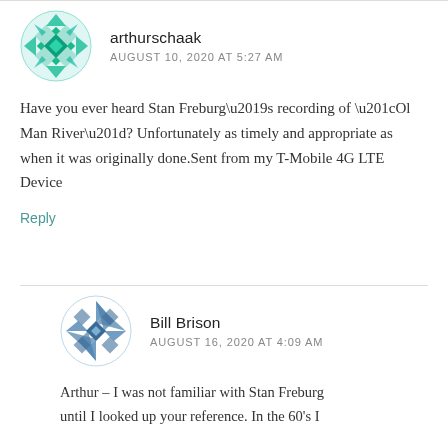arthurschaak
AUGUST 10, 2020 AT 5:27 AM
Have you ever heard Stan Freburg’s recording of “Ol Man River”? Unfortunately as timely and appropriate as when it was originally done.Sent from my T-Mobile 4G LTE Device
Reply
Bill Brison
AUGUST 16, 2020 AT 4:09 AM
Arthur – I was not familiar with Stan Freburg until I looked up your reference. In the 60’s I